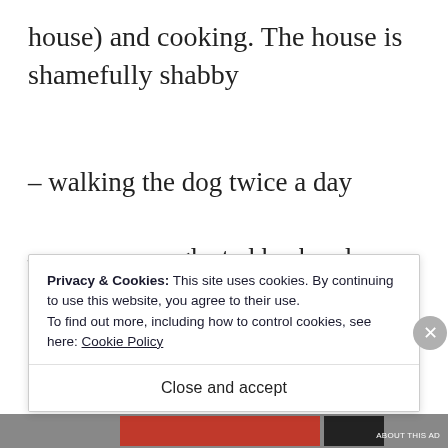house) and cooking. The house is shamefully shabby
– walking the dog twice a day
– my poor, neglected husband...
Privacy & Cookies: This site uses cookies. By continuing to use this website, you agree to their use.
To find out more, including how to control cookies, see here: Cookie Policy
Close and accept